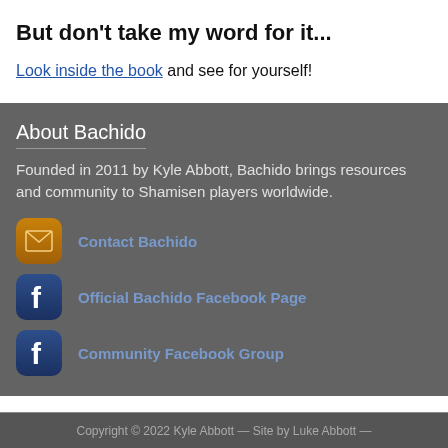But don’t take my word for it...
Look inside the book and see for yourself!
About Bachido
Founded in 2011 by Kyle Abbott, Bachido brings resources and community to Shamisen players worldwide.
Contact Bachido
Official Bachido Facebook Page
Community Facebook Group
Copyright © 2022 Kyle Abbott — Site by Luke Abbott —